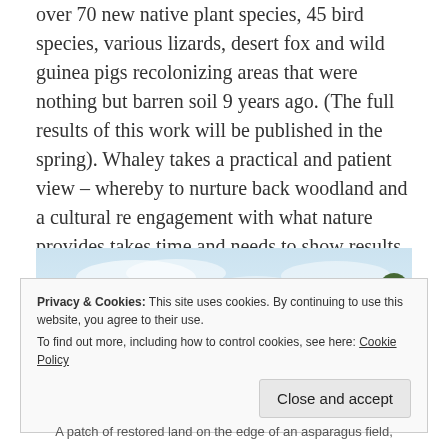over 70 new native plant species, 45 bird species, various lizards, desert fox and wild guinea pigs recolonizing areas that were nothing but barren soil 9 years ago. (The full results of this work will be published in the spring). Whaley takes a practical and patient view – whereby to nurture back woodland and a cultural re engagement with what nature provides takes time and needs to show results.
[Figure (photo): Landscape photo showing trees with green foliage against a blue sky with light clouds, taken on the edge of agricultural land.]
Privacy & Cookies: This site uses cookies. By continuing to use this website, you agree to their use.
To find out more, including how to control cookies, see here: Cookie Policy
A patch of restored land on the edge of an asparagus field,